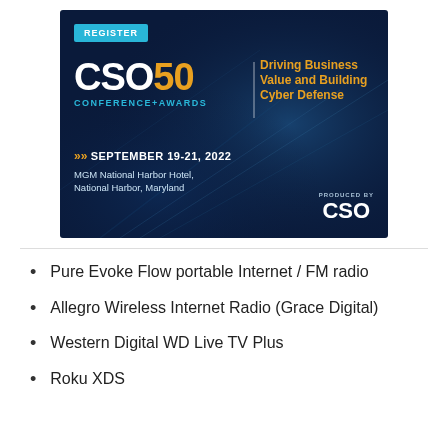[Figure (illustration): CSO50 Conference+Awards advertisement banner on dark blue background. Shows 'REGISTER' button in cyan, CSO50 logo in white and orange, tagline 'Driving Business Value and Building Cyber Defense' in orange, date 'SEPTEMBER 19-21, 2022' with orange arrows, location 'MGM National Harbor Hotel, National Harbor, Maryland', and 'PRODUCED BY CSO' logo in bottom right.]
Pure Evoke Flow portable Internet / FM radio
Allegro Wireless Internet Radio (Grace Digital)
Western Digital WD Live TV Plus
Roku XDS